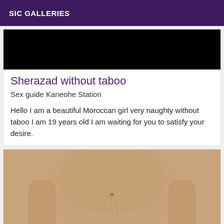SIC GALLERIES
[Figure (photo): Dark/black image at the top of a card]
Sherazad without taboo
Sex guide Kaneohe Station
Hello I am a beautiful Moroccan girl very naughty without taboo I am 19 years old I am waiting for you to satisfy your desire.
[Figure (photo): Close-up photo of a male torso]